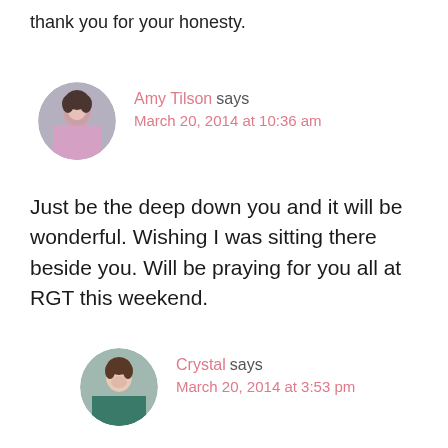thank you for your honesty.
Amy Tilson says
March 20, 2014 at 10:36 am
Just be the deep down you and it will be wonderful. Wishing I was sitting there beside you. Will be praying for you all at RGT this weekend.
Crystal says
March 20, 2014 at 3:53 pm